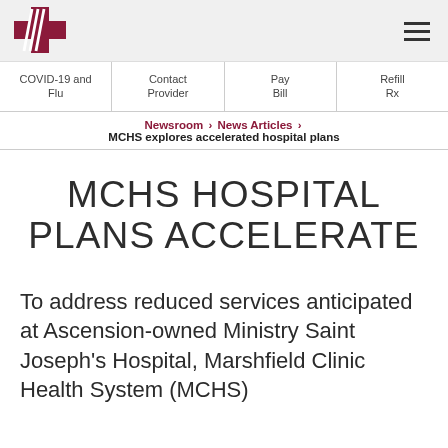[Figure (logo): Marshfield Clinic Health System logo — red cross with stylized lines]
COVID-19 and Flu | Contact Provider | Pay Bill | Refill Rx
Newsroom > News Articles > MCHS explores accelerated hospital plans
MCHS HOSPITAL PLANS ACCELERATE
To address reduced services anticipated at Ascension-owned Ministry Saint Joseph's Hospital, Marshfield Clinic Health System (MCHS)